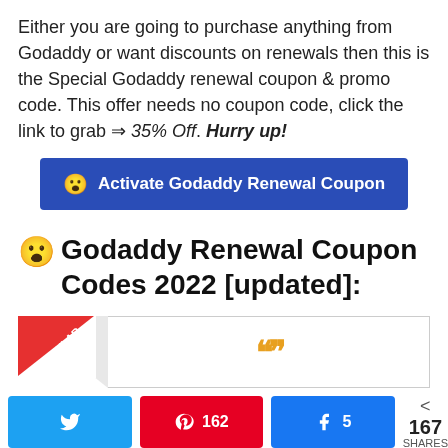Either you are going to purchase anything from Godaddy or want discounts on renewals then this is the Special Godaddy renewal coupon & promo code. This offer needs no coupon code, click the link to grab ⇒ 35% Off. Hurry up!
[Figure (infographic): Blue button labeled 'Activate Godaddy Renewal Coupon' with a surprised face emoji]
😲 Godaddy Renewal Coupon Codes 2022 [updated]:
[Figure (infographic): Popular ribbon badge on left, quote box with orange quotation marks on the right]
Twitter share button | Pinterest 162 | Facebook 5 | < 167 SHARES